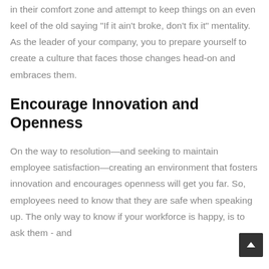in their comfort zone and attempt to keep things on an even keel of the old saying "If it ain't broke, don't fix it" mentality. As the leader of your company, you to prepare yourself to create a culture that faces those changes head-on and embraces them.
Encourage Innovation and Openness
On the way to resolution—and seeking to maintain employee satisfaction—creating an environment that fosters innovation and encourages openness will get you far. So, employees need to know that they are safe when speaking up. The only way to know if your workforce is happy, is to ask them - and